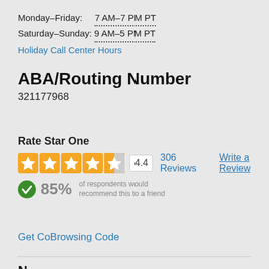Monday–Friday:    7 AM–7 PM PT
Saturday–Sunday:  9 AM–5 PM PT
Holiday Call Center Hours
ABA/Routing Number
321177968
Rate Star One
[Figure (other): 4.4 star rating display with orange stars, rating number 4.4, 306 Reviews link, and Write a Review link]
85% of respondents would recommend this to a friend
Get CoBrowsing Code
N...